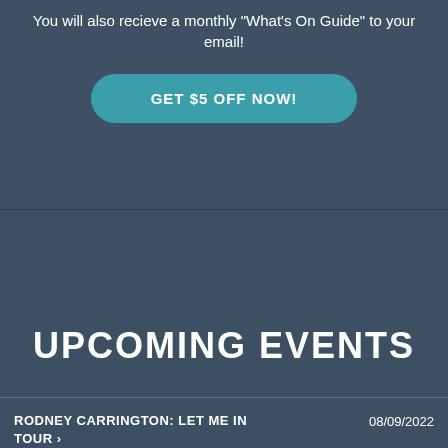You will also recieve a monthly "What's On Guide" to your email!
GET $5 OFF NOW!
UPCOMING EVENTS
RODNEY CARRINGTON: LET ME IN TOUR ›   08/09/2022